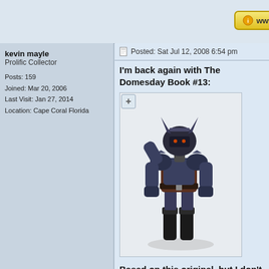[Figure (screenshot): WWW button/link in top bar area]
kevin mayle
Prolific Collector

Posts: 159
Joined: Mar 20, 2006
Last Visit: Jan 27, 2014
Location: Cape Coral Florida
Posted: Sat Jul 12, 2008 6:54 pm
I'm back again with The Domesday Book #13:
[Figure (illustration): Colored digital illustration of an armored warrior/goblin character with horned helmet, dark armor and boots, standing in a combat pose]
Based on this original, but I don't know who the artist was:
[Figure (illustration): Pencil sketch/line drawing of a similar armored warrior character, shown on brownish paper]
[Figure (illustration): Partially visible illustration at bottom of page showing another version of the character]